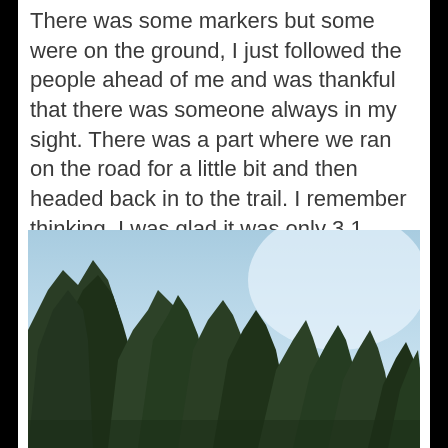There was some markers but some were on the ground, I just followed the people ahead of me and was thankful that there was someone always in my sight. There was a part where we ran on the road for a little bit and then headed back in to the trail. I remember thinking, I was glad it was only 3.1 miles lol. It was so hot out.
[Figure (photo): Outdoor photo looking upward at tall evergreen trees against a clear light blue sky, taken from below. Trees are dark green conifer trees silhouetted against the sky.]